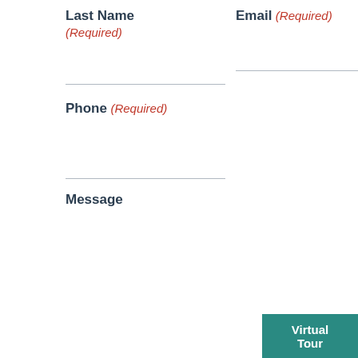Last Name (Required)
Email (Required)
Phone (Required)
Message
Virtual Tour